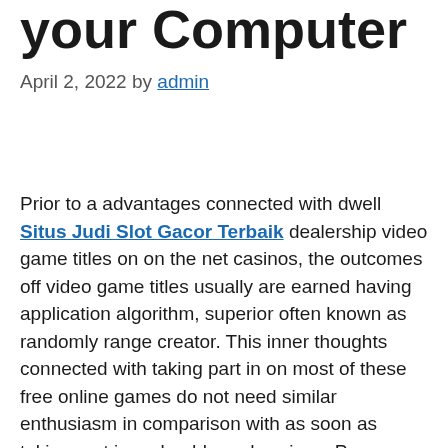your Computer
April 2, 2022 by admin
Prior to a advantages connected with dwell Situs Judi Slot Gacor Terbaik dealership video game titles on on the net casinos, the outcomes off video game titles usually are earned having application algorithm, superior often known as randomly range creator. This inner thoughts connected with taking part in on most of these free online games do not need similar enthusiasm in comparison with as soon as taking part in on land-based casinos. Persons however including to travel to this land-based casinos in the event to merely engage in while using